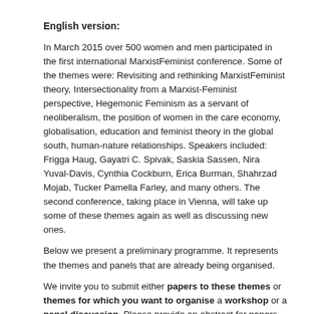English version:
In March 2015 over 500 women and men participated in the first international MarxistFeminist conference. Some of the themes were: Revisiting and rethinking MarxistFeminist theory, Intersectionality from a Marxist-Feminist perspective, Hegemonic Feminism as a servant of neoliberalism, the position of women in the care economy, globalisation, education and feminist theory in the global south, human-nature relationships. Speakers included: Frigga Haug, Gayatri C. Spivak, Saskia Sassen, Nira Yuval-Davis, Cynthia Cockburn, Erica Burman, Shahrzad Mojab, Tucker Pamella Farley, and many others. The second conference, taking place in Vienna, will take up some of these themes again as well as discussing new ones.
Below we present a preliminary programme. It represents the themes and panels that are already being organised.
We invite you to submit either papers to these themes or themes for which you want to organise a workshop or a panel discussion. Please provide an abstract for papers you want to present and/or panels you want to organise. The deadline for submissions is the 30th of April.